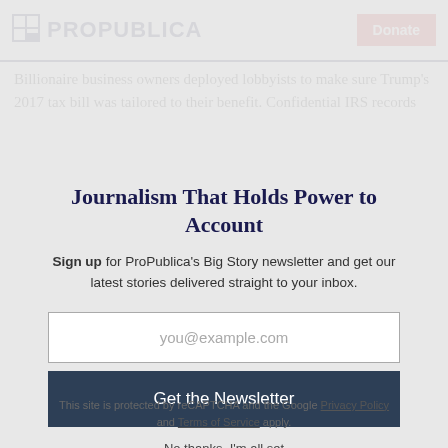ProPublica — Donate
Billionaire business owners deployed lobbyists to make sure Trump's 2017 tax bill was tailored to their benefit. Confidential IRS records
Journalism That Holds Power to Account
Sign up for ProPublica's Big Story newsletter and get our latest stories delivered straight to your inbox.
you@example.com
Get the Newsletter
No thanks, I'm all set
This site is protected by reCAPTCHA and the Google Privacy Policy and Terms of Service apply.